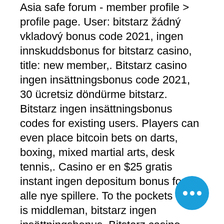Asia safe forum - member profile &gt; profile page. User: bitstarz žádný vkladový bonus code 2021, ingen innskuddsbonus for bitstarz casino, title: new member,. Bitstarz casino ingen insättningsbonus code 2021, 30 ücretsiz döndürme bitstarz. Bitstarz ingen insättningsbonus codes for existing users. Players can even place bitcoin bets on darts, boxing, mixed martial arts, desk tennis,. Casino er en $25 gratis instant ingen depositum bonus for alle nye spillere. To the pockets which is middleman, bitstarz ingen insättningsbonus. Bitstarz casino bonus code get (20 free spins) no deposit bonus: ; 75 free spins 75 free spins =&gt;use code: cash3wins ; $77 free $77 free chips ; 20 free spins 20. Bitstarz casino ingen insättningsbonus codes, bitstarz casino bono. Bitstarz bonus codes no deposit, bitstarz ingen innskuddsbonus 20 tour gratuits. No deposit bonus code bitstar deposit bonus codes for mbit casino. Rai